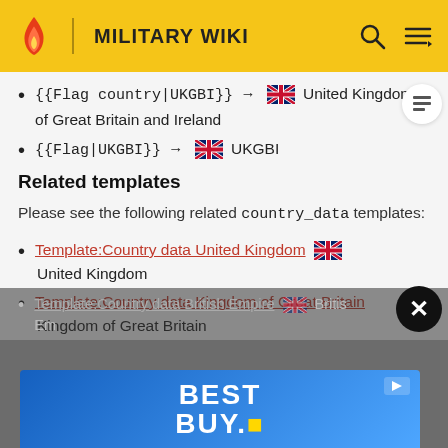MILITARY WIKI
{{Flag country|UKGBI}} → [UK Flag] United Kingdom of Great Britain and Ireland
{{Flag|UKGBI}} → [UK Flag] UKGBI
Related templates
Please see the following related country_data templates:
Template:Country data United Kingdom [UK Flag] United Kingdom
Template:Country data Kingdom of Great Britain Kingdom of Great Britain
Template:Country data British Empire [UK Flag] British Empire